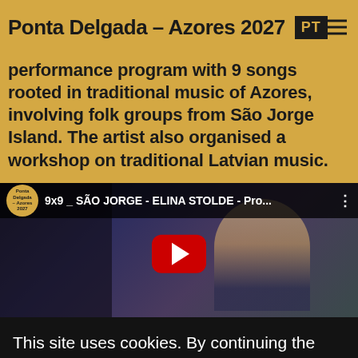Ponta Delgada – Azores 2027
performance program with 9 songs rooted in traditional music of Azores, involving folk groups from São Jorge Island. The artist also organised a workshop on traditional Latvian music.
[Figure (screenshot): YouTube video thumbnail showing '9x9 _ SÃO JORGE - ELINA STOLDE - Pro...' with a woman sitting in a dark room, YouTube play button overlay, Ponta Delgada Azores 2027 logo in circle on the left.]
This site uses cookies. By continuing the navigation you are authorizing its use.
I want to learn more about cookies
OK